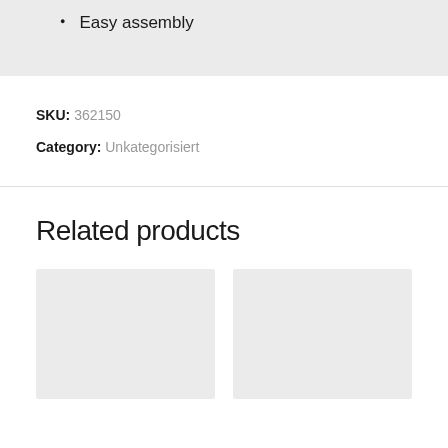Easy assembly
SKU: 362150
Category: Unkategorisiert
Related products
[Figure (other): Two placeholder product image boxes for related products]